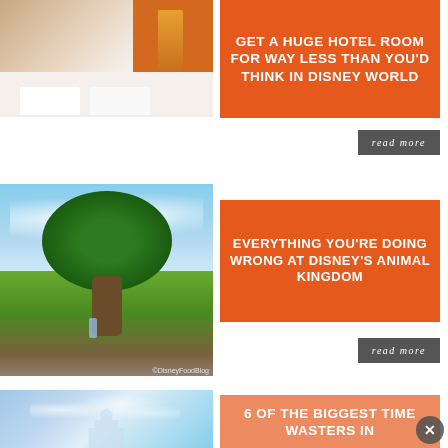[Figure (photo): Hotel room with white bed, pillows, headboard, orange wall lamp]
GET A HUGE HOTEL ROOM FOR WAY LESS THAN YOU'D THINK IN DISNEY WORLD
read more
[Figure (photo): Tree of Life at Disney's Animal Kingdom with green canopy, rocky base, blue sky with clouds. Copyright DisneyFoodBlog.]
EVERYTHING YOU'RE DOING WRONG AT DISNEY'S ANIMAL KINGDOM
read more
[Figure (photo): Cinderella Castle silhouette with fireworks in blue sky]
6 OF THE BIGGEST TIME WASTERS IN